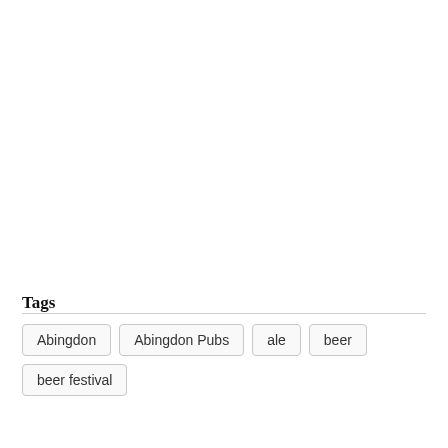Tags
Abingdon
Abingdon Pubs
ale
beer
beer festival